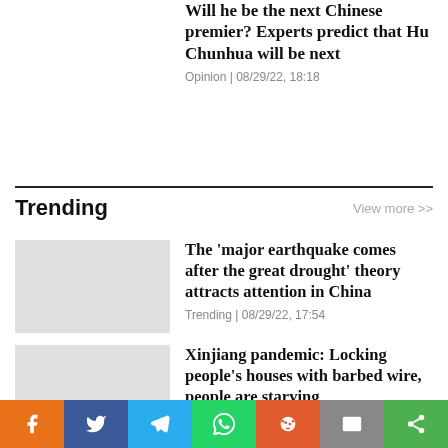Will he be the next Chinese premier? Experts predict that Hu Chunhua will be next
Opinion | 08/29/22, 18:18
Trending
View more >>
[Figure (photo): Thumbnail image placeholder for earthquake article]
The 'major earthquake comes after the great drought' theory attracts attention in China
Trending | 08/29/22, 17:54
[Figure (photo): Thumbnail image placeholder for Xinjiang article]
Xinjiang pandemic: Locking people's houses with barbed wire, people are starving